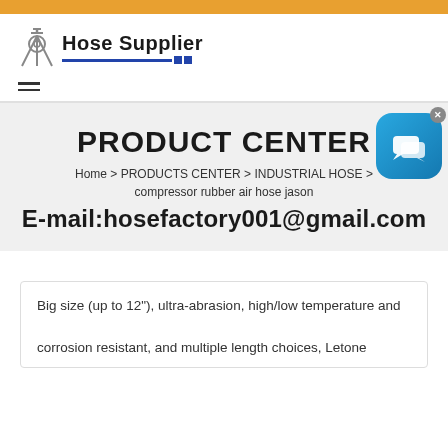[Figure (logo): Hose Supplier logo with industrial equipment icon and blue underline]
PRODUCT CENTER
Home > PRODUCTS CENTER > INDUSTRIAL HOSE > compressor rubber air hose jason
E-mail:hosefactory001@gmail.com
Big size (up to 12"), ultra-abrasion, high/low temperature and corrosion resistant, and multiple length choices, Letone